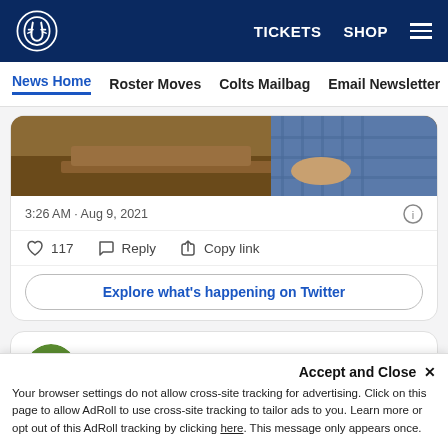TICKETS  SHOP  ☰  [Colts Logo]
News Home  Roster Moves  Colts Mailbag  Email Newsletter  U
[Figure (photo): Partial photo of person at a desk, brownish/wooden tones, blue plaid shirt visible]
3:26 AM · Aug 9, 2021
♡ 117   Reply   Copy link
Explore what's happening on Twitter
Kalen Jackson ✓ @KalenIJackson · Follow
Such a fun evening celebrating Pey...
Accept and Close ✕ Your browser settings do not allow cross-site tracking for advertising. Click on this page to allow AdRoll to use cross-site tracking to tailor ads to you. Learn more or opt out of this AdRoll tracking by clicking here. This message only appears once.